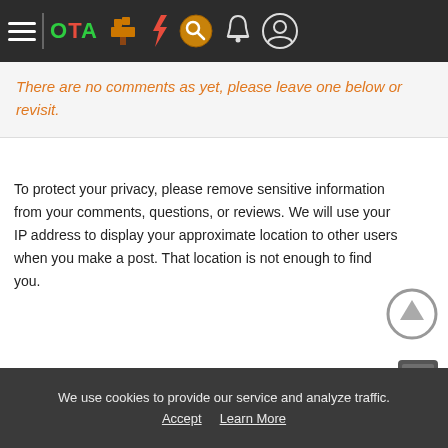OTA navigation bar with hamburger menu, logo, and icons
There are no comments as yet, please leave one below or revisit.
To protect your privacy, please remove sensitive information from your comments, questions, or reviews. We will use your IP address to display your approximate location to other users when you make a post. That location is not enough to find you.
Write Your Comment, Question, Answer, or Review
We use cookies to provide our service and analyze traffic. Accept | Learn More